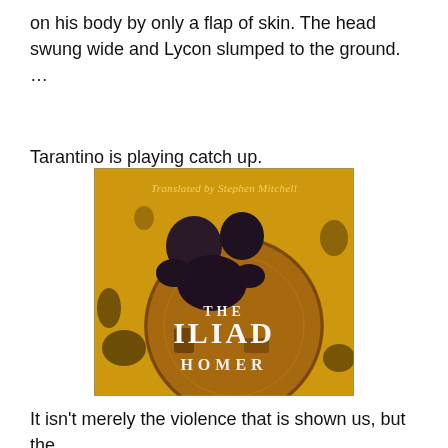on his body by only a flap of skin. The head swung wide and Lycon slumped to the ground. …
Tarantino is playing catch up.
[Figure (photo): Book cover of 'The Iliad' by Homer, translated by Stephen Mitchell. Features a dark sculptural figure crouching over a large golden circular shield against a golden textured background. Text on cover reads: 'Translated by Stephen Mitchell', 'THE ILIAD', 'HOMER'.]
It isn't merely the violence that is shown us, but the